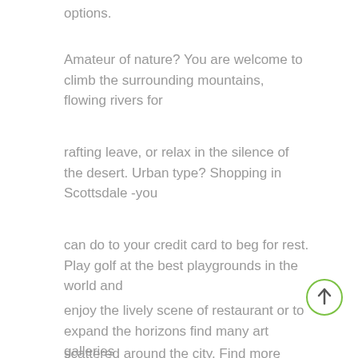options.
Amateur of nature? You are welcome to climb the surrounding mountains, flowing rivers for
rafting leave, or relax in the silence of the desert. Urban type? Shopping in Scottsdale -you
can do to your credit card to beg for rest. Play golf at the best playgrounds in the world and
enjoy the lively scene of restaurant or to expand the horizons find many art galleries
scattered around the city. Find more here.